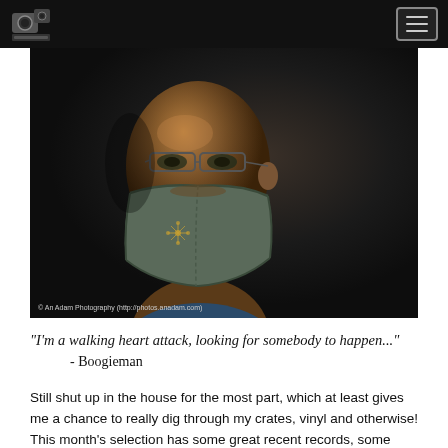[Photography blog header with logo and navigation menu]
[Figure (photo): Portrait photograph of a bald Black man wearing glasses and a grey face mask with a gold floral emblem, against a dark background. Credit: © An Adam Photography (http://photos.anadam.com)]
"I'm a walking heart attack, looking for somebody to happen..."
- Boogieman
Still shut up in the house for the most part, which at least gives me a chance to really dig through my crates, vinyl and otherwise! This month's selection has some great recent records, some older underground favourites, and a mix